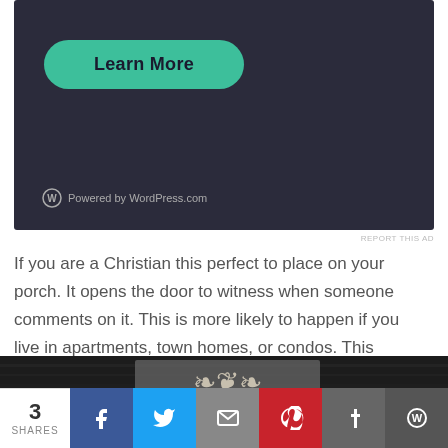[Figure (screenshot): Dark-themed WordPress.com advertisement banner with a teal 'Learn More' button and WordPress logo at bottom left]
If you are a Christian this perfect to place on your porch. It opens the door to witness when someone comments on it. This is more likely to happen if you live in apartments, town homes, or condos. This follows Jesus' teaching to go into all the world and spread the gospel.
[Figure (photo): Dark wooden surface with a decorative heart and floral design on a grey background]
3 SHARES